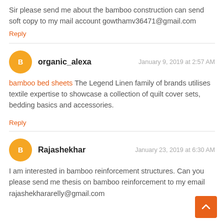Sir please send me about the bamboo construction can send soft copy to my mail account gowthamv36471@gmail.com
Reply
organic_alexa
January 9, 2019 at 2:57 AM
bamboo bed sheets The Legend Linen family of brands utilises textile expertise to showcase a collection of quilt cover sets, bedding basics and accessories.
Reply
Rajashekhar
January 23, 2019 at 6:30 AM
I am interested in bamboo reinforcement structures. Can you please send me thesis on bamboo reinforcement to my email rajashekhararelly@gmail.com